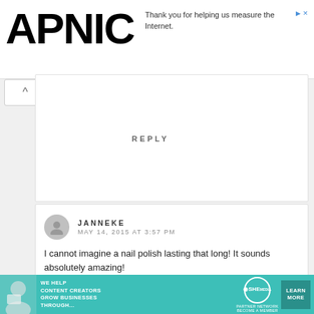APNIC
Thank you for helping us measure the Internet.
REPLY
JANNEKE
MAY 14, 2015 AT 3:57 PM
I cannot imagine a nail polish lasting that long! It sounds absolutely amazing!
DAISYPERSON | BEAUTY BLOG
[Figure (screenshot): Bottom advertisement banner for SHE Partner Network with teal background, showing woman with laptop, text 'We help content creators grow businesses through...', SHE logo, and Learn More button]